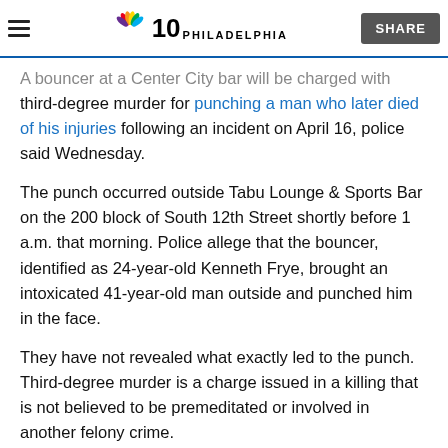NBC 10 PHILADELPHIA | SHARE
A bouncer at a Center City bar will be charged with third-degree murder for punching a man who later died of his injuries following an incident on April 16, police said Wednesday.
The punch occurred outside Tabu Lounge & Sports Bar on the 200 block of South 12th Street shortly before 1 a.m. that morning. Police allege that the bouncer, identified as 24-year-old Kenneth Frye, brought an intoxicated 41-year-old man outside and punched him in the face.
They have not revealed what exactly led to the punch. Third-degree murder is a charge issued in a killing that is not believed to be premeditated or involved in another felony crime.